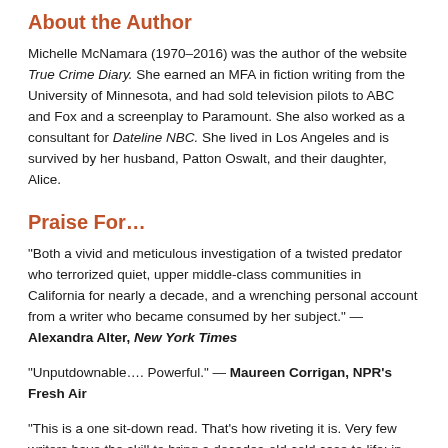About the Author
Michelle McNamara (1970–2016) was the author of the website True Crime Diary. She earned an MFA in fiction writing from the University of Minnesota, and had sold television pilots to ABC and Fox and a screenplay to Paramount. She also worked as a consultant for Dateline NBC. She lived in Los Angeles and is survived by her husband, Patton Oswalt, and their daughter, Alice.
Praise For…
“Both a vivid and meticulous investigation of a twisted predator who terrorized quiet, upper middle-class communities in California for nearly a decade, and a wrenching personal account from a writer who became consumed by her subject.” — Alexandra Alter, New York Times
“Unputdownable…. Powerful.” — Maureen Corrigan, NPR’s Fresh Air
“This is a one sit-down read. That’s how riveting it is. Very few writers have the skill to bring a decades-old cold case to life; in these pages, Michelle McNamara has not only successfully resuscitated the fascinating case of the Golden State Killer